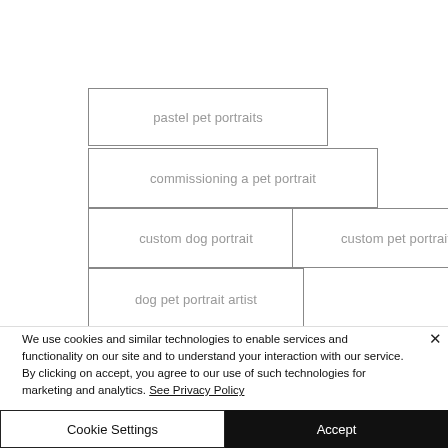pastel pet portraits
commissioning a pet portrait
custom dog portrait
custom pet portrait
dog pet portrait artist
We use cookies and similar technologies to enable services and functionality on our site and to understand your interaction with our service. By clicking on accept, you agree to our use of such technologies for marketing and analytics. See Privacy Policy
Cookie Settings
Accept